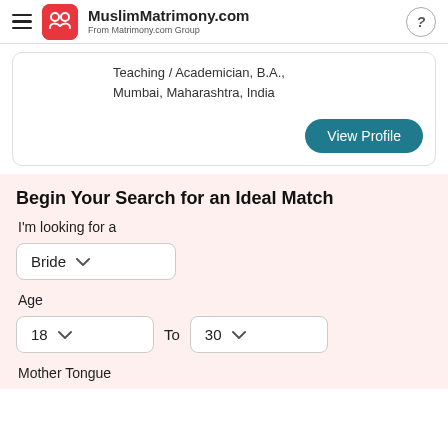MuslimMatrimony.com — From Matrimony.com Group
Teaching / Academician, B.A., Mumbai, Maharashtra, India
View Profile
Begin Your Search for an Ideal Match
I'm looking for a
Bride
Age
18  To  30
Mother Tongue